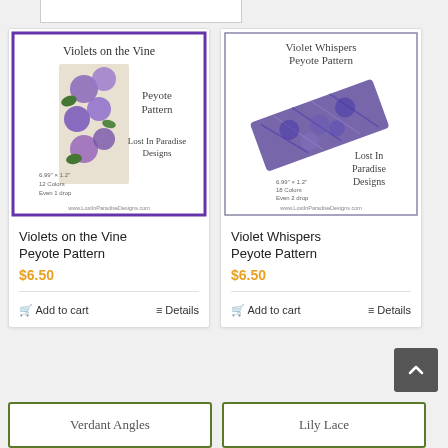[Figure (screenshot): Partial product card at top (white box, cropped)]
[Figure (illustration): Product card image for Violets on the Vine Peyote Pattern - shows beaded bracelet with violet flower design, purple border]
Violets on the Vine Peyote Pattern
$6.50
Add to cart   Details
[Figure (illustration): Product card image for Violet Whispers Peyote Pattern - shows beaded bracelet with blue/purple abstract design]
Violet Whispers Peyote Pattern
$6.50
Add to cart   Details
[Figure (other): Scroll-to-top button (dark grey, chevron up)]
[Figure (illustration): Partial bottom card - Verdant Angles (green border, cropped)]
[Figure (illustration): Partial bottom card - Lily Lace (green border, cropped)]